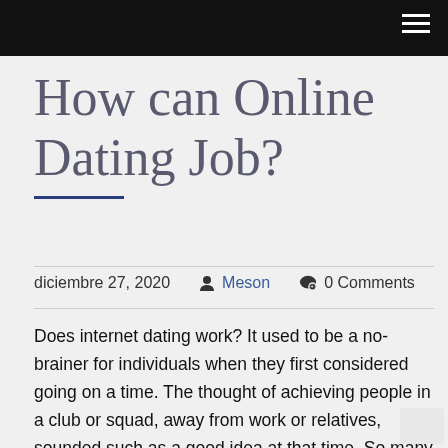How can Online Dating Job?
diciembre 27, 2020  Meson  0 Comments
Does internet dating work? It used to be a no-brainer for individuals when they first considered going on a time. The thought of achieving people in a club or squad, away from work or relatives, sounded such as a good idea at that time. So many people feel that they will for no reason meet any individual special if perhaps they ditched the idea of going, but online dating services is changing the face of dating for good.